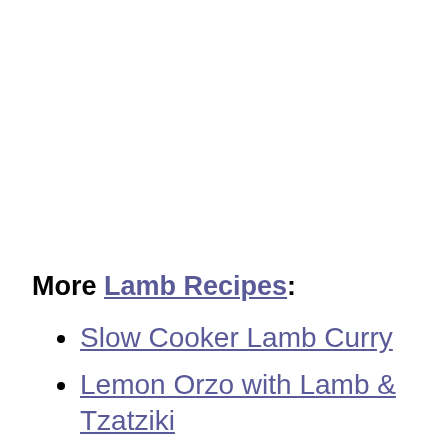More Lamb Recipes:
Slow Cooker Lamb Curry
Lemon Orzo with Lamb & Tzatziki
Marinated Lamb Chops with Rosemary & Garlic